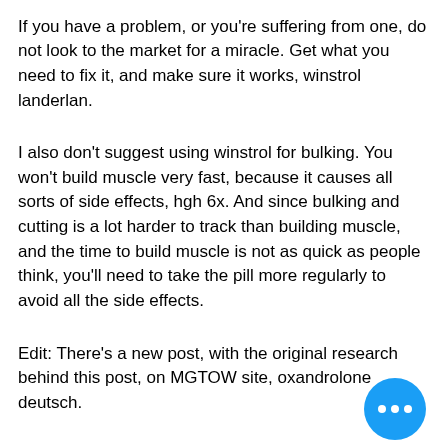more), crazy bulk phone number.
If you have a problem, or you're suffering from one, do not look to the market for a miracle. Get what you need to fix it, and make sure it works, winstrol landerlan.
I also don't suggest using winstrol for bulking. You won't build muscle very fast, because it causes all sorts of side effects, hgh 6x. And since bulking and cutting is a lot harder to track than building muscle, and the time to build muscle is not as quick as people think, you'll need to take the pill more regularly to avoid all the side effects.
Edit: There's a new post, with the original research behind this post, on MGTOW site, oxandrolone deutsch.
Papers published in the Asian Journal of